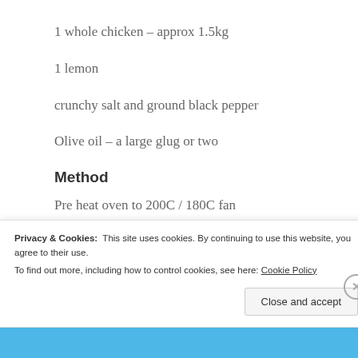1 whole chicken – approx 1.5kg
1 lemon
crunchy salt and ground black pepper
Olive oil – a large glug or two
Method
Pre heat oven to 200C / 180C fan
Privacy & Cookies:  This site uses cookies. By continuing to use this website, you agree to their use.
To find out more, including how to control cookies, see here: Cookie Policy
Close and accept